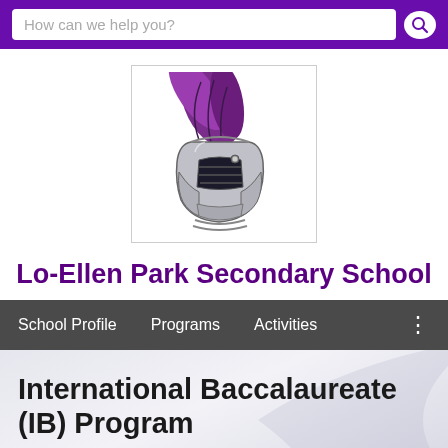How can we help you?
[Figure (logo): Lo-Ellen Park Secondary School knight helmet mascot logo with purple plume, inside a bordered box]
Lo-Ellen Park Secondary School
School Profile    Programs    Activities
International Baccalaureate (IB) Program